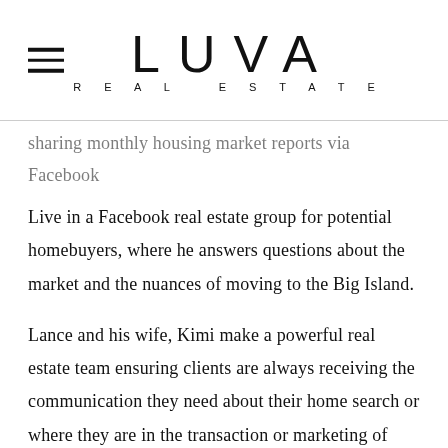LUVA REAL ESTATE
sharing monthly housing market reports via Facebook Live in a Facebook real estate group for potential homebuyers, where he answers questions about the market and the nuances of moving to the Big Island.
Lance and his wife, Kimi make a powerful real estate team ensuring clients are always receiving the communication they need about their home search or where they are in the transaction or marketing of their home. Currently building a home of his own in Kaloko, Lance has hands on experience with buying and renovating a home, purchasing land and getting building permits, agriculture property (where he